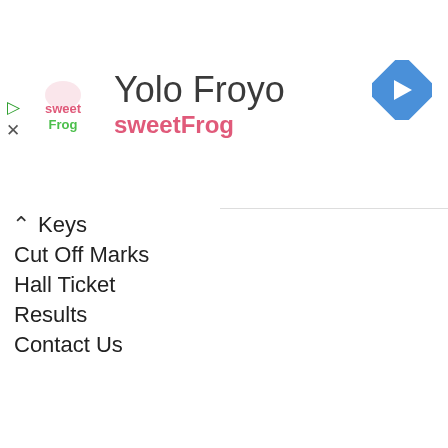[Figure (screenshot): Advertisement banner for sweetFrog Yolo Froyo with logo and navigation arrow]
Keys
Cut Off Marks
Hall Ticket
Results
Contact Us
[Figure (screenshot): YouTube channel widget showing avatar and 9K subscribers button]
RECENT | POPULAR | COMMENTS
TNPSC Group 2 Mains - Daily Answer Writing Practice - Day 24 by TNPSCGURU
Lee  Apr 29, 2022
[Hall Ticket] TNPSC Group 2/2A Hall Ticket May 2022